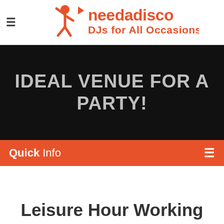[Figure (logo): needadisco logo with orange figure and text 'needadisco DJs for All Occasions']
IDEAL VENUE FOR A PARTY!
Quick Info
Leisure Hour Working